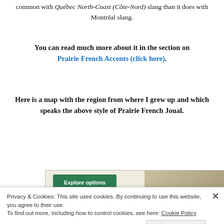common with Québec North-Coast (Côte-Nord) slang than it does with Montréal slang.
You can read much more about it in the section on Prairie French Accents (click here).
Here is a map with the region from where I grew up and which speaks the above style of Prairie French Joual.
[Figure (screenshot): Advertisement screenshot showing 'Explore options' button on a beige background with letter A and food imagery]
Privacy & Cookies: This site uses cookies. By continuing to use this website, you agree to their use. To find out more, including how to control cookies, see here: Cookie Policy
Close and accept